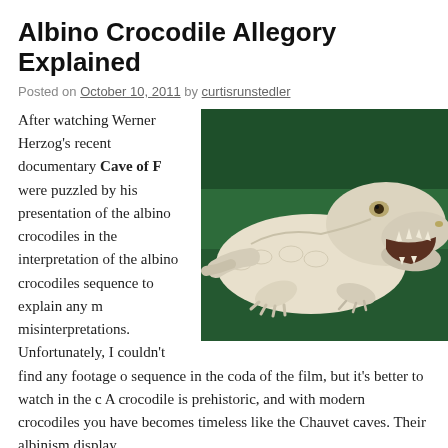Albino Crocodile Allegory Explained
Posted on October 10, 2011 by curtisrunstedler
[Figure (photo): An albino crocodile with white scaly skin and open mouth showing teeth, posed against a dark green background, photographed from a slightly elevated angle.]
After watching Werner Herzog's recent documentary Cave of F were puzzled by his presentation of the albino crocodiles in the interpretation of the albino crocodiles sequence to explain any m misinterpretations. Unfortunately, I couldn't find any footage o sequence in the coda of the film, but it's better to watch in the c A crocodile is prehistoric, and with modern crocodiles you have becomes timeless like the Chauvet caves. Their albinism display